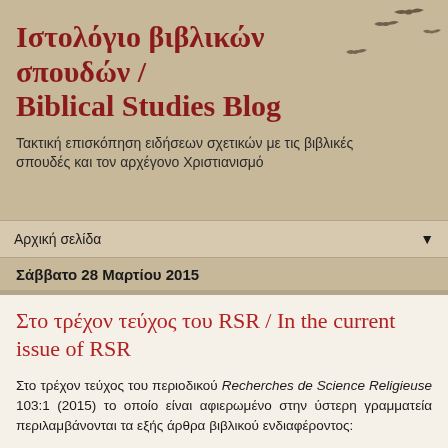Ιστολόγιο βιβλικών σπουδών / Biblical Studies Blog
Τακτική επισκόπηση ειδήσεων σχετικών με τις βιβλικές σπουδές και τον αρχέγονο Χριστιανισμό
Αρχική σελίδα
Σάββατο 28 Μαρτίου 2015
Στο τρέχον τεύχος του RSR / In the current issue of RSR
Στο τρέχον τεύχος του περιοδικού Recherches de Science Religieuse 103:1 (2015) το οποίο είναι αφιερωμένο στην ύστερη γραμματεία περιλαμβάνονται τα εξής άρθρα βιβλικού ενδιαφέροντος: